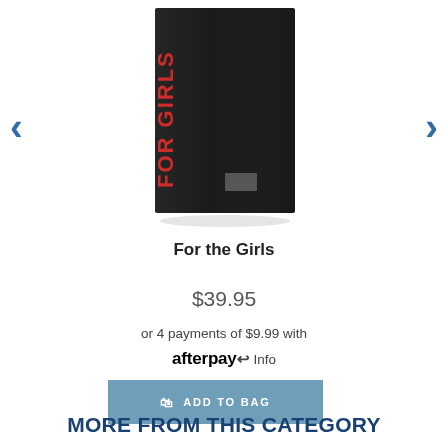[Figure (photo): Product photo of 'For the Girls' card game in a dark box with red text on the spine, shown against white background]
For the Girls
$39.95
or 4 payments of $9.99 with afterpay Info
ADD TO BAG
MORE FROM THIS CATEGORY